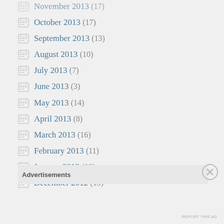November 2013 (17)
October 2013 (17)
September 2013 (13)
August 2013 (10)
July 2013 (7)
June 2013 (3)
May 2013 (14)
April 2013 (8)
March 2013 (16)
February 2013 (11)
January 2013 (18)
December 2012 (13)
Advertisements